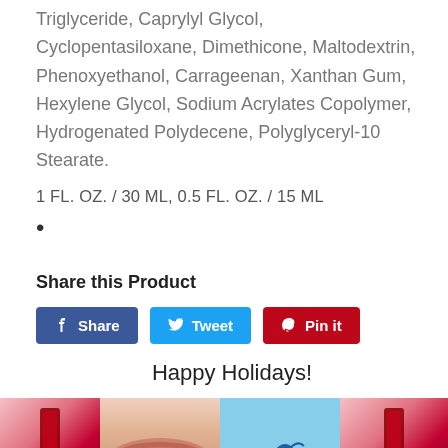Triglyceride, Caprylyl Glycol, Cyclopentasiloxane, Dimethicone, Maltodextrin, Phenoxyethanol, Carrageenan, Xanthan Gum, Hexylene Glycol, Sodium Acrylates Copolymer, Hydrogenated Polydecene, Polyglyceryl-10 Stearate.
1 FL. OZ. / 30 ML, 0.5 FL. OZ. / 15 ML
•
Share this Product
[Figure (screenshot): Social sharing buttons: Facebook Share button (blue), Twitter Tweet button (light blue), Pinterest Pin it button (red)]
Happy Holidays!
[Figure (photo): A strip of product/lifestyle photos including close-up of lips, a beach/ocean scene with dolphin, and product images with red accents. Navigation arrows on left and right.]